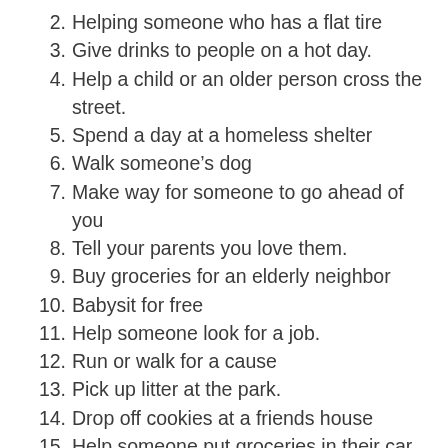2. Helping someone who has a flat tire
3. Give drinks to people on a hot day.
4. Help a child or an older person cross the street.
5. Spend a day at a homeless shelter
6. Walk someone’s dog
7. Make way for someone to go ahead of you
8. Tell your parents you love them.
9. Buy groceries for an elderly neighbor
10. Babysit for free
11. Help someone look for a job.
12. Run or walk for a cause
13. Pick up litter at the park.
14. Drop off cookies at a friends house
15. Help someone put groceries in their car.
16. Send flowers to someone from...